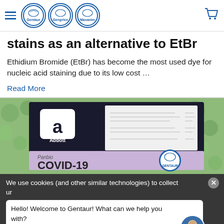Gentaur Genprice Maxanim navigation header with cart
stains as an alternative to EtBr
Ethidium Bromide (EtBr) has become the most used dye for nucleic acid staining due to its low cost …
Read More
[Figure (photo): Product photo showing Abbott Panbio COVID-19 Ag test kit box with Gentaur branding label overlay on a background of green foam/packaging material]
We use cookies (and other similar technologies) to collect
Hello! Welcome to Gentaur! What can we help you with?
Visit Also...
Settings   Reject all   Accept All   English >